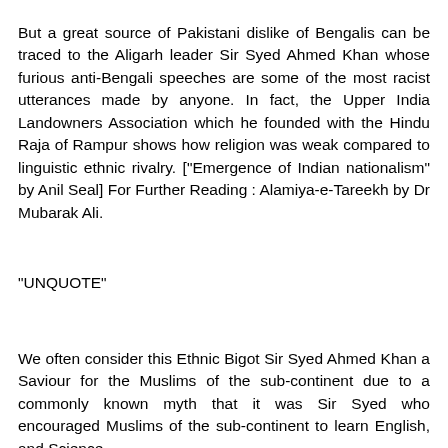But a great source of Pakistani dislike of Bengalis can be traced to the Aligarh leader Sir Syed Ahmed Khan whose furious anti-Bengali speeches are some of the most racist utterances made by anyone. In fact, the Upper India Landowners Association which he founded with the Hindu Raja of Rampur shows how religion was weak compared to linguistic ethnic rivalry. ["Emergence of Indian nationalism" by Anil Seal] For Further Reading : Alamiya-e-Tareekh by Dr Mubarak Ali.
"UNQUOTE"
We often consider this Ethnic Bigot Sir Syed Ahmed Khan a Saviour for the Muslims of the sub-continent due to a commonly known myth that it was Sir Syed who encouraged Muslims of the sub-continent to learn English, and Science.